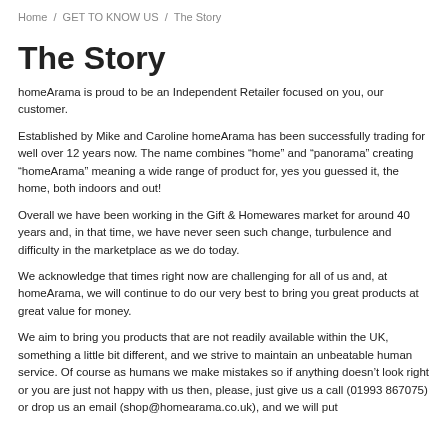Home / GET TO KNOW US / The Story
The Story
homeArama is proud to be an Independent Retailer focused on you, our customer.
Established by Mike and Caroline homeArama has been successfully trading for well over 12 years now. The name combines “home” and “panorama” creating “homeArama” meaning a wide range of product for, yes you guessed it, the home, both indoors and out!
Overall we have been working in the Gift & Homewares market for around 40 years and, in that time, we have never seen such change, turbulence and difficulty in the marketplace as we do today.
We acknowledge that times right now are challenging for all of us and, at homeArama, we will continue to do our very best to bring you great products at great value for money.
We aim to bring you products that are not readily available within the UK, something a little bit different, and we strive to maintain an unbeatable human service. Of course as humans we make mistakes so if anything doesn’t look right or you are just not happy with us then, please, just give us a call (01993 867075) or drop us an email (shop@homearama.co.uk), and we will put